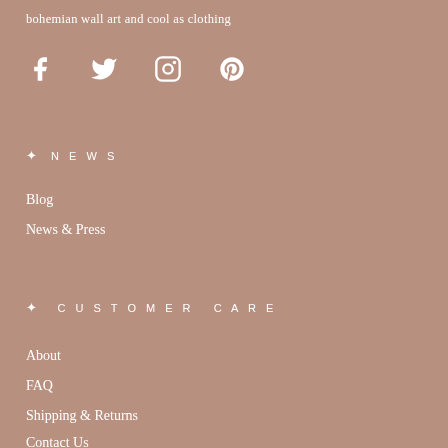bohemian wall art and cool as clothing
[Figure (infographic): Social media icons: Facebook, Twitter, Instagram, Pinterest]
★ NEWS
Blog
News & Press
★ CUSTOMER CARE
About
FAQ
Shipping & Returns
Contact Us